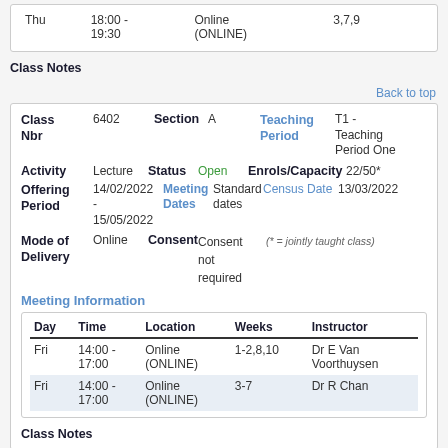| Day | Time | Location | Weeks | Instructor |
| --- | --- | --- | --- | --- |
| Thu | 18:00 - 19:30 | Online (ONLINE) | 3,7,9 |  |
Class Notes
Back to top
| Class Nbr | 6402 | Section | A | Teaching Period | T1 - Teaching Period One |
| --- | --- | --- | --- | --- | --- |
| Activity | Lecture | Status | Open | Enrols/Capacity | 22/50* |
| Offering Period | 14/02/2022 - 15/05/2022 | Meeting Dates | Standard dates | Census Date | 13/03/2022 |
| Mode of Delivery | Online | Consent | Consent not required |  | (* = jointly taught class) |
Meeting Information
| Day | Time | Location | Weeks | Instructor |
| --- | --- | --- | --- | --- |
| Fri | 14:00 - 17:00 | Online (ONLINE) | 1-2,8,10 | Dr E Van Voorthuysen |
| Fri | 14:00 - 17:00 | Online (ONLINE) | 3-7 | Dr R Chan |
Class Notes